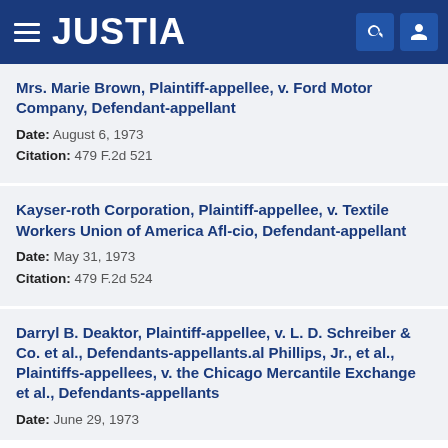JUSTIA
Mrs. Marie Brown, Plaintiff-appellee, v. Ford Motor Company, Defendant-appellant
Date: August 6, 1973
Citation: 479 F.2d 521
Kayser-roth Corporation, Plaintiff-appellee, v. Textile Workers Union of America Afl-cio, Defendant-appellant
Date: May 31, 1973
Citation: 479 F.2d 524
Darryl B. Deaktor, Plaintiff-appellee, v. L. D. Schreiber & Co. et al., Defendants-appellants.al Phillips, Jr., et al., Plaintiffs-appellees, v. the Chicago Mercantile Exchange et al., Defendants-appellants
Date: June 29, 1973